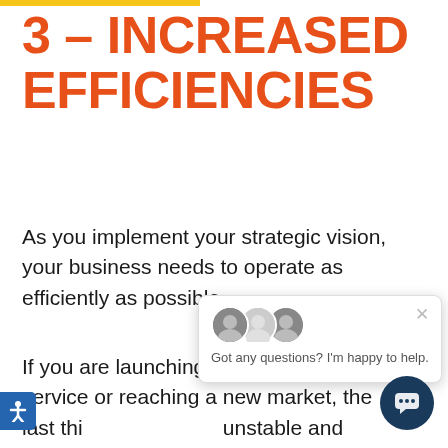3 – INCREASED EFFICIENCIES
As you implement your strategic vision, your business needs to operate as efficiently as possible.
If you are launching a new product or service or reaching a new market, the last thi… unstable and ineffi…
[Figure (screenshot): Chat widget overlay showing avatars and message 'Got any questions? I'm happy to help.']
Your I.T. support provider can help you increase the efficiency of your business… he stability of your I.T. infrastructure. This